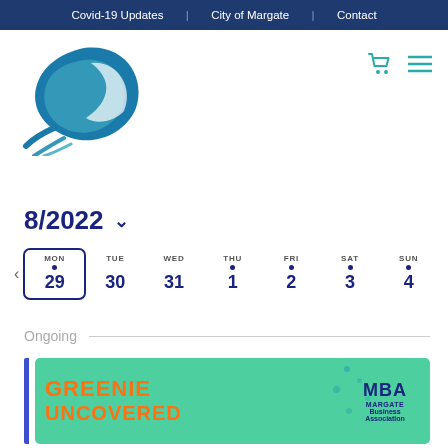Covid-19 Updates  |  City of Margate  |  Contact
[Figure (logo): City of Margate wave logo in blue/teal tones]
[Figure (infographic): Shopping cart and hamburger menu icons in teal]
8/2022
< MON 29  TUE 30  WED 31  THU 1  FRI 2  SAT 3  SUN 4
Ongoing
[Figure (illustration): Greenie Uncovered event banner with MBA Margate Business Association logo on teal/green background with orange text]